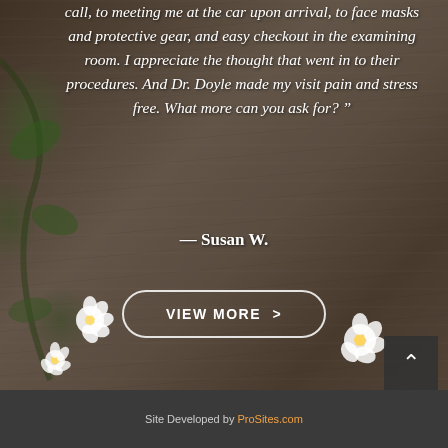call, to meeting me at the car upon arrival, to face masks and protective gear, and easy checkout in the examining room. I appreciate the thought that went in to their procedures. And Dr. Doyle made my visit pain and stress free. What more can you ask for? ”
— Susan W.
VIEW MORE >
Site Developed by ProSites.com